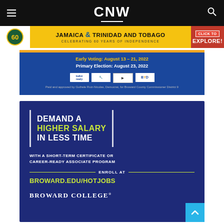CNW
[Figure (infographic): Jamaica and Trinidad and Tobago banner ad: Celebrating 60 Years of Independence, Click to Explore]
[Figure (infographic): Election ad: Early Voting August 13-21 2022, Primary Election August 23 2022, Paid and approved by Guthele Ruiz-Nicolas Democrat for Broward County Commissioner District 9]
[Figure (infographic): Broward College ad: DEMAND A HIGHER SALARY IN LESS TIME with a short-term certificate or career-ready associate program, Enroll at BROWARD.EDU/HOTJOBS, BROWARD COLLEGE]